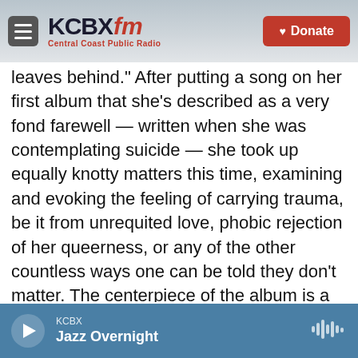KCBX FM — Central Coast Public Radio | Donate
leaves behind." After putting a song on her first album that she's described as a very fond farewell — written when she was contemplating suicide — she took up equally knotty matters this time, examining and evoking the feeling of carrying trauma, be it from unrequited love, phobic rejection of her queerness, or any of the other countless ways one can be told they don't matter. The centerpiece of the album is a pair of songs that take in the horror of opioid deaths, but spin everything around to ask the surrounding society what's keeping us from caring enough to take action. It's a collection that feels shrewdly powerful,
KCBX — Jazz Overnight